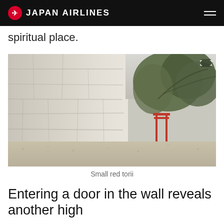JAPAN AIRLINES
spiritual place.
[Figure (photo): A blurred close-up photograph showing a large stone wall on the left side and green trees with a small red torii gate visible in the background on the right. A graveled path runs along the bottom of the image.]
Small red torii
Entering a door in the wall reveals another high